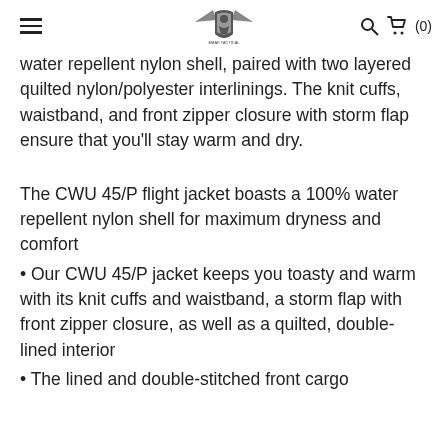≡   [EMAF Tactical Logo]   🔍  🛒 (0)
water repellent nylon shell, paired with two layered quilted nylon/polyester interlinings. The knit cuffs, waistband, and front zipper closure with storm flap ensure that you'll stay warm and dry.
The CWU 45/P flight jacket boasts a 100% water repellent nylon shell for maximum dryness and comfort
• Our CWU 45/P jacket keeps you toasty and warm with its knit cuffs and waistband, a storm flap with front zipper closure, as well as a quilted, double-lined interior
• The lined and double-stitched front cargo